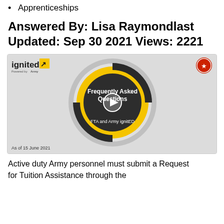Apprenticeships
Answered By: Lisa Raymondlast Updated: Sep 30 2021 Views: 2221
[Figure (screenshot): Video thumbnail showing ignited (Army) branding with a dark circular design overlaid with text 'Frequently Asked Questions' and 'FTA and Army ignitED', with a play button in the center. 'As of 15 June 2021' shown at bottom left.]
Active duty Army personnel must submit a Request for Tuition Assistance through the